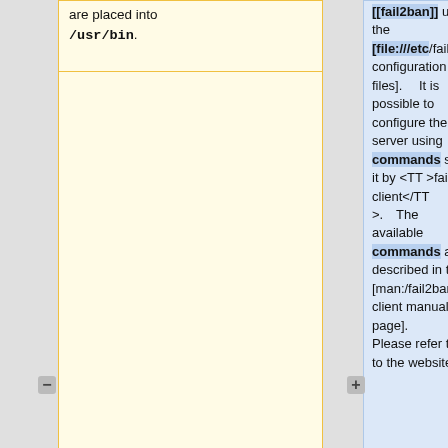are placed into /usr/bin.
[[fail2ban]] using the [file:///etc/fail2ban configuration files]. It is possible to configure the server using commands sent to it by <TT>fail2ban-client</TT>. The available commands are described in the [man:/fail2ban-client manual page]. Please refer to it or to the website.
It is possible that Fail2ban is already packaged for your
== Contact ==